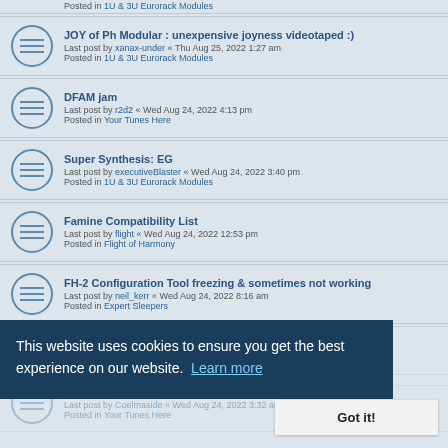Posted in 1U & 3U Eurorack Modules (partial top)
JOY of Ph Modular : unexpensive joyness videotaped :)
Last post by xanax-under « Thu Aug 25, 2022 1:27 am
Posted in 1U & 3U Eurorack Modules
DFAM jam
Last post by r2d2 « Wed Aug 24, 2022 4:13 pm
Posted in Your Tunes Here
Super Synthesis: EG
Last post by executiveBlaster « Wed Aug 24, 2022 3:40 pm
Posted in 1U & 3U Eurorack Modules
Famine Compatibility List
Last post by flight « Wed Aug 24, 2022 12:53 pm
Posted in Flight of Harmony
FH-2 Configuration Tool freezing & sometimes not working
Last post by neil_kerr « Wed Aug 24, 2022 8:16 am
Posted in Expert Sleepers
Introducing the PGV Modular and Stompbox versions!
Last post by Audiospektro « Wed Aug 24, 2022 4:12 am
(title with label)
Last post by Coelmaside « Wed Aug 24, 2022 3:32 am
Posted in Your Tunes Here
uZeus (dual)multi case 4ms pod?
Last post by analogjunker « Wed Aug 24, 2022 2:55 am
Posted in 1U & 3U Eurorack Modules
This website uses cookies to ensure you get the best experience on our website. Learn more
Got it!